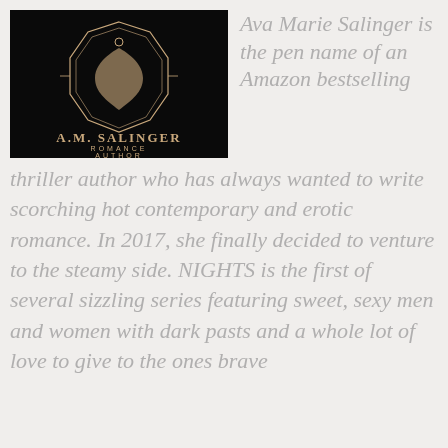[Figure (logo): A.M. Salinger Romance Author logo — black background with geometric diamond/heart shape in gold/tan, text reads A.M. SALINGER ROMANCE AUTHOR]
Ava Marie Salinger is the pen name of an Amazon bestselling thriller author who has always wanted to write scorching hot contemporary and erotic romance. In 2017, she finally decided to venture to the steamy side. NIGHTS is the first of several sizzling series featuring sweet, sexy men and women with dark pasts and a whole lot of love to give to the ones brave